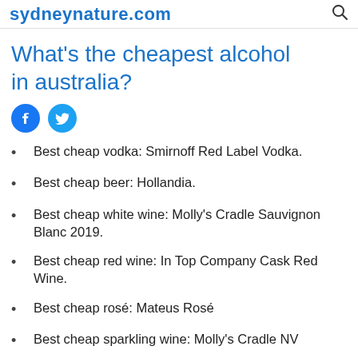sydneynature.com
What's the cheapest alcohol in australia?
Best cheap vodka: Smirnoff Red Label Vodka.
Best cheap beer: Hollandia.
Best cheap white wine: Molly's Cradle Sauvignon Blanc 2019.
Best cheap red wine: In Top Company Cask Red Wine.
Best cheap rosé: Mateus Rosé
Best cheap sparkling wine: Molly's Cradle NV